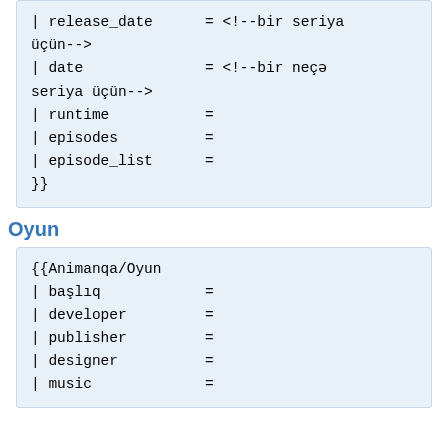| release_date      = <!--bir seriya üçün-->
| date              = <!--bir neçə seriya üçün-->
| runtime           =
| episodes          =
| episode_list      =
}}
Oyun
{{Animanqa/Oyun
| başlıq            =
| developer         =
| publisher         =
| designer          =
| music             =